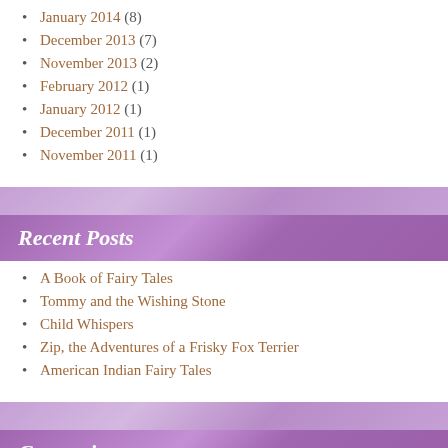January 2014 (8)
December 2013 (7)
November 2013 (2)
February 2012 (1)
January 2012 (1)
December 2011 (1)
November 2011 (1)
Recent Posts
A Book of Fairy Tales
Tommy and the Wishing Stone
Child Whispers
Zip, the Adventures of a Frisky Fox Terrier
American Indian Fairy Tales
Categories
Beatrix Potter